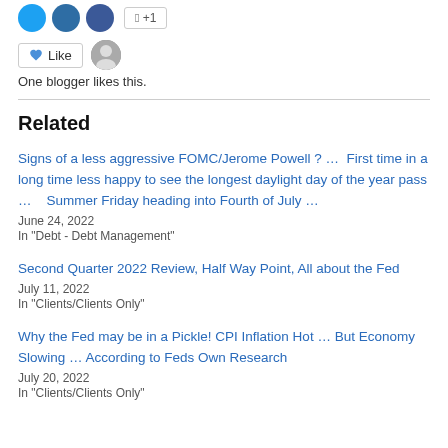One blogger likes this.
Related
Signs of a less aggressive FOMC/Jerome Powell ? …  First time in a long time less happy to see the longest daylight day of the year pass …    Summer Friday heading into Fourth of July …
June 24, 2022
In "Debt - Debt Management"
Second Quarter 2022 Review, Half Way Point, All about the Fed
July 11, 2022
In "Clients/Clients Only"
Why the Fed may be in a Pickle! CPI Inflation Hot … But Economy Slowing … According to Feds Own Research
July 20, 2022
In "Clients/Clients Only"